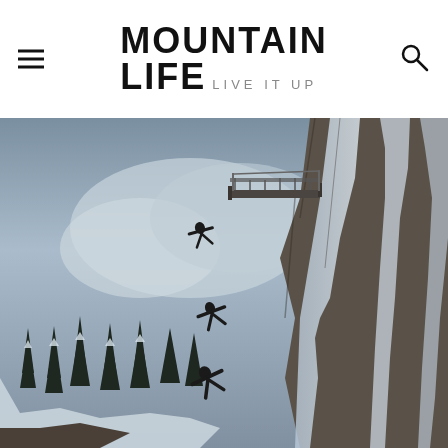MOUNTAIN LIFE — LIVE IT UP
[Figure (photo): Mountain cliff scene with winter landscape. Two ski jumpers or falling figures visible in the air against a blue-grey cloudy sky. A platform or ski jump structure extends from the rocky cliff on the right. Snow-covered trees and steep icy rock face are visible.]